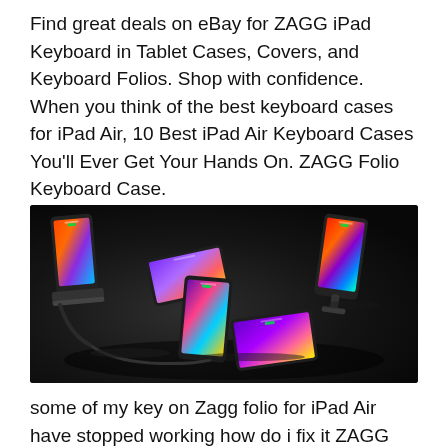Find great deals on eBay for ZAGG iPad Keyboard in Tablet Cases, Covers, and Keyboard Folios. Shop with confidence. When you think of the best keyboard cases for iPad Air, 10 Best iPad Air Keyboard Cases You'll Ever Get Your Hands On. ZAGG Folio Keyboard Case.
[Figure (photo): Product photo of multiple smartphones on wireless chargers and stands against a dark background, showing colorful gradient screens.]
some of my key on Zagg folio for iPad Air have stopped working how do i fix it ZAGG Product